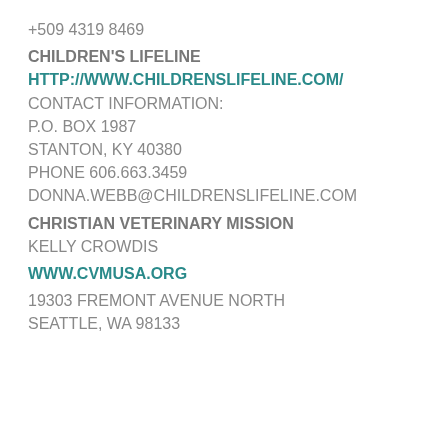+509 4319 8469
CHILDREN'S LIFELINE
HTTP://WWW.CHILDRENSLIFELINE.COM/
CONTACT INFORMATION:
P.O. BOX 1987
STANTON, KY 40380
PHONE 606.663.3459
DONNA.WEBB@CHILDRENSLIFELINE.COM
CHRISTIAN VETERINARY MISSION
KELLY CROWDIS
WWW.CVMUSA.ORG
19303 FREMONT AVENUE NORTH
SEATTLE, WA 98133